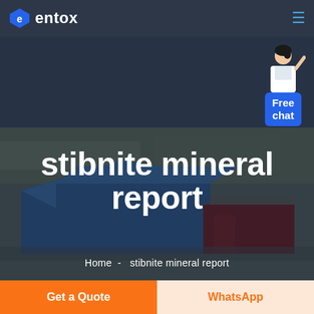entox
[Figure (photo): Aerial view of an industrial facility with large blue-roofed warehouses, used as hero background image]
stibnite mineral report
Home  -  stibnite mineral report
[Figure (infographic): Free chat widget with avatar of a person and blue button labeled Free chat]
Get a Quote
WhatsApp